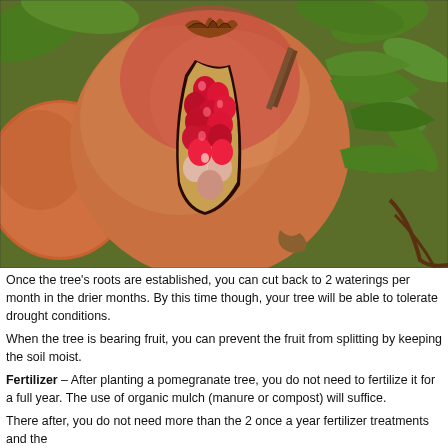[Figure (photo): Close-up photograph of a pomegranate fruit split open on the tree, showing red arils/seeds inside, with green leaves and another pomegranate visible in the background.]
Once the tree's roots are established, you can cut back to 2 waterings per month in the drier months. By this time though, your tree will be able to tolerate drought conditions.
When the tree is bearing fruit, you can prevent the fruit from splitting by keeping the soil moist.
Fertilizer – After planting a pomegranate tree, you do not need to fertilize it for a full year. The use of organic mulch (manure or compost) will suffice.
There after, you do not need more than the 2 once a year fertilizer treatments and the...